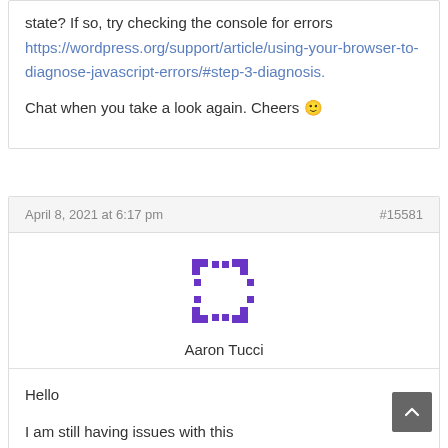state? If so, try checking the console for errors https://wordpress.org/support/article/using-your-browser-to-diagnose-javascript-errors/#step-3-diagnosis.

Chat when you take a look again. Cheers 🙂
April 8, 2021 at 6:17 pm   #15581
[Figure (logo): Purple geometric avatar/logo for user Aaron Tucci]
Aaron Tucci
Hello

I am still having issues with this